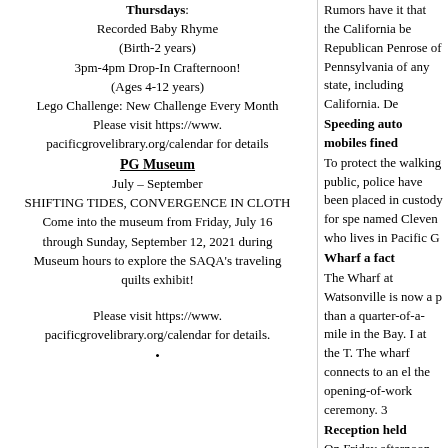Thursdays:
Recorded Baby Rhyme (Birth-2 years)
3pm-4pm Drop-In Crafternoon! (Ages 4-12 years)
Lego Challenge: New Challenge Every Month
Please visit https://www.pacificgrovelibrary.org/calendar for details
PG Museum
July – September
SHIFTING TIDES, CONVERGENCE IN CLOTH
Come into the museum from Friday, July 16 through Sunday, September 12, 2021 during Museum hours to explore the SAQA's traveling quilts exhibit!
Please visit https://www.pacificgrovelibrary.org/calendar for details.
Rumors have it that the California be Republican Penrose of Pennsylvania of any state, including California. De
Speeding auto mobiles fined
To protect the walking public, police have been placed in custody for spe named Cleven who lives in Pacific G
Wharf a fact
The Wharf at Watsonville is now a p than a quarter-of-a-mile in the Bay. I at the T. The wharf connects to an el the opening-of-work ceremony. 3
Reception held
On Friday afternoon, the parlor of the than a bevy of "bright" children carry than a dozen "foreign" children joine costumes. The fete was sponsored
Norton becomes Real Estate agen
Mr. Charles T. Norton, who has been expand his operation by adding real several cottages and a bungalow. All
Snippets from area
All area grocery stores will close f Christmas. 3
F. F. Morgan, painter, is operating
Exceptionally low-priced waists ha
J. C. Dog lives on 13th Street and